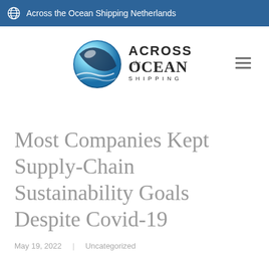Across the Ocean Shipping Netherlands
[Figure (logo): Across the Ocean Shipping logo — circular blue/cyan globe-like emblem with wave, next to 'ACROSS the OCEAN SHIPPING' text in mixed serif/sans font]
Most Companies Kept Supply-Chain Sustainability Goals Despite Covid-19
May 19, 2022   Uncategorized